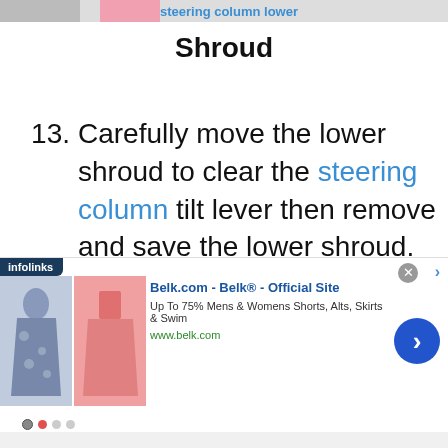[partial header image — cropped top]
Shroud
13. Carefully move the lower shroud to clear the steering column tilt lever then remove and save the lower shroud. (Figure 8).
[Figure (other): Infolinks advertisement banner for Belk.com showing clothing images, title 'Belk.com - Belk® - Official Site', description 'Up To 75% Mens & Womens Shorts, Alts, Skirts & Swim', url 'www.belk.com', with navigation arrow button]